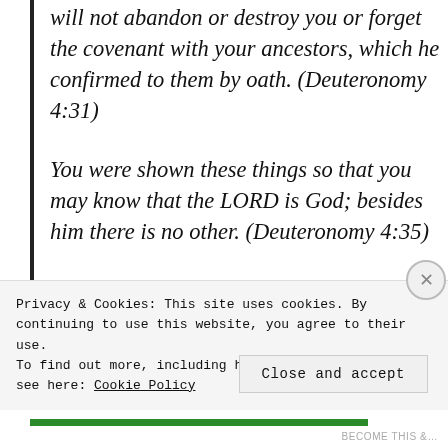will not abandon or destroy you or forget the covenant with your ancestors, which he confirmed to them by oath. (Deuteronomy 4:31)
You were shown these things so that you may know that the LORD is God; besides him there is no other. (Deuteronomy 4:35)
Acknowledge and take to heart this day that the LORD is God in heaven above and on the earth below. There is no other. (Deuteronomy…)
Privacy & Cookies: This site uses cookies. By continuing to use this website, you agree to their use.
To find out more, including how to control cookies, see here: Cookie Policy
Close and accept